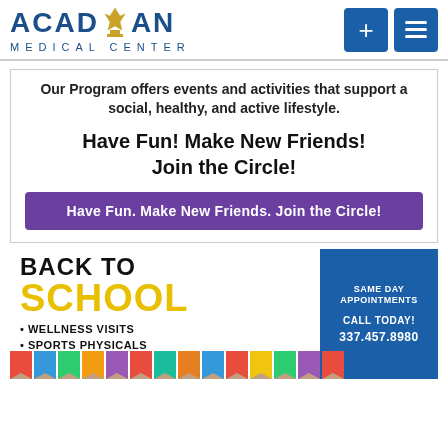[Figure (logo): Acadian Medical Center logo with blue text and gold fleur-de-lis, plus navigation icons]
Our Program offers events and activities that support a social, healthy, and active lifestyle.
Have Fun! Make New Friends! Join the Circle!
Have Fun. Make New Friends. Join the Circle!
[Figure (infographic): Back to School promotional image with colored pencils. Text: BACK TO SCHOOL, WELLNESS VISITS, SPORTS PHYSICALS. Blue box: SAME DAY APPOINTMENTS, CALL TODAY!, 337.457.8980]